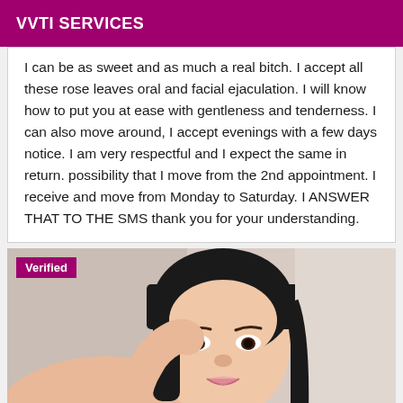VVTI SERVICES
I can be as sweet and as much a real bitch. I accept all these rose leaves oral and facial ejaculation. I will know how to put you at ease with gentleness and tenderness. I can also move around, I accept evenings with a few days notice. I am very respectful and I expect the same in return. possibility that I move from the 2nd appointment. I receive and move from Monday to Saturday. I ANSWER THAT TO THE SMS thank you for your understanding.
[Figure (photo): Portrait photo of a young Asian woman with long dark hair, hand raised near her head, smiling slightly. A purple 'Verified' badge appears in the top-left corner of the image.]